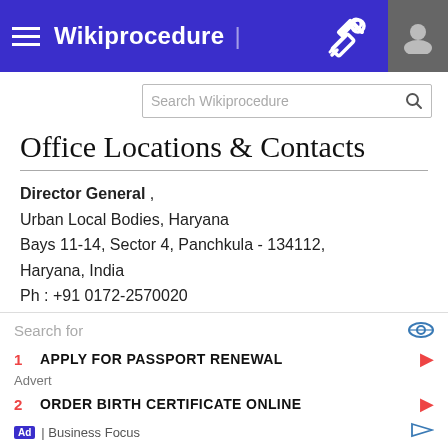Wikiprocedure
Office Locations & Contacts
Director General , Urban Local Bodies, Haryana Bays 11-14, Sector 4, Panchkula - 134112, Haryana, India Ph : +91 0172-2570020 Fax : +91 2570021 E-mail: dulbhry@hry.nic.in Contact Link: Contact
Search for
1 APPLY FOR PASSPORT RENEWAL
Advert
2 ORDER BIRTH CERTIFICATE ONLINE
Ad | Business Focus